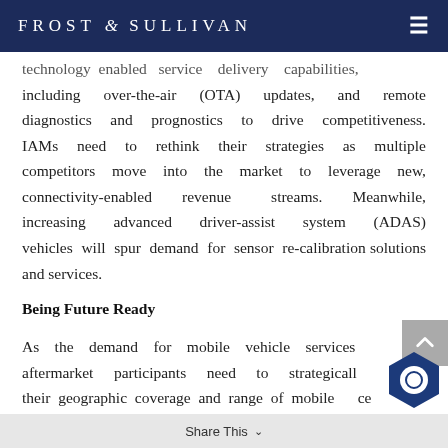FROST & SULLIVAN
technology enabled service delivery capabilities, including over-the-air (OTA) updates, and remote diagnostics and prognostics to drive competitiveness. IAMs need to rethink their strategies as multiple competitors move into the market to leverage new, connectivity-enabled revenue streams. Meanwhile, increasing advanced driver-assist system (ADAS) vehicles will spur demand for sensor re-calibration solutions and services.
Being Future Ready
As the demand for mobile vehicle services rises, aftermarket participants need to strategically expand their geographic coverage and range of mobile service